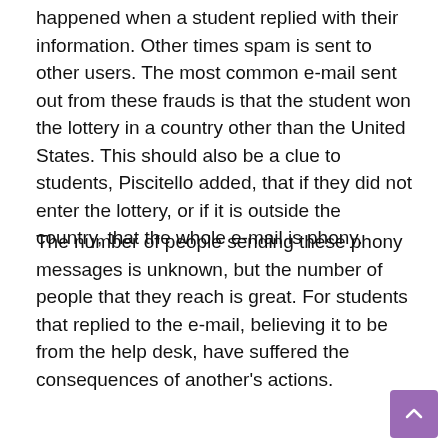happened when a student replied with their information. Other times spam is sent to other users. The most common e-mail sent out from these frauds is that the student won the lottery in a country other than the United States. This should also be a clue to students, Piscitello added, that if they did not enter the lottery, or if it is outside the country, that the whole e-mail is phony.
The number of people sending these phony messages is unknown, but the number of people that they reach is great. For students that replied to the e-mail, believing it to be from the help desk, have suffered the consequences of another's actions.